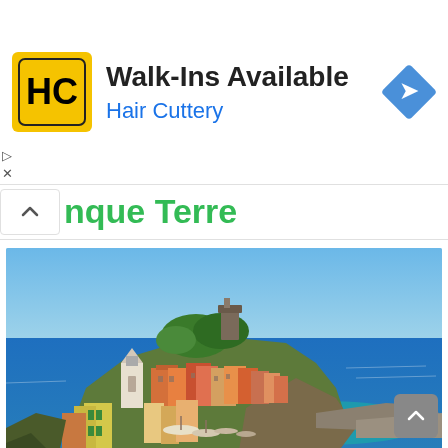[Figure (screenshot): Advertisement banner for Hair Cuttery. Shows the HC logo (yellow square with HC letters), the text 'Walk-Ins Available' in bold black, 'Hair Cuttery' in blue, and a blue navigation/directions diamond icon on the right. Small play and close indicators on the left.]
nque Terre
[Figure (photo): Aerial/elevated photograph of Cinque Terre (Vernazza village), Italy. Shows colorful buildings clustered on a rocky promontory surrounded by the vivid blue Mediterranean Sea, with a small harbor and boats visible.]
Image Source
Noted for its dramatic coastline, Cinque Terre is a string of five fishing villages (Monterosso, Vernazzo, Corniglia, Manarola,